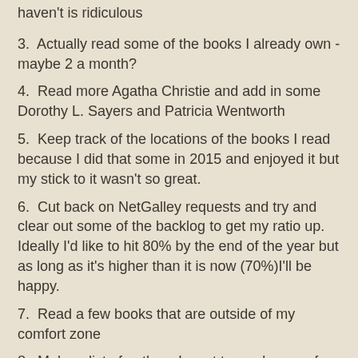haven't is ridiculous
3.  Actually read some of the books I already own - maybe 2 a month?
4.  Read more Agatha Christie and add in some Dorothy L. Sayers and Patricia Wentworth
5.  Keep track of the locations of the books I read because I did that some in 2015 and enjoyed it but my stick to it wasn't so great.
6.  Cut back on NetGalley requests and try and clear out some of the backlog to get my ratio up.  Ideally I'd like to hit 80% by the end of the year but as long as it's higher than it is now (70%)I'll be happy.
7.  Read a few books that are outside of my comfort zone
8.  Make a list of authors I want to read more of or just read in general and make some progress on the list.